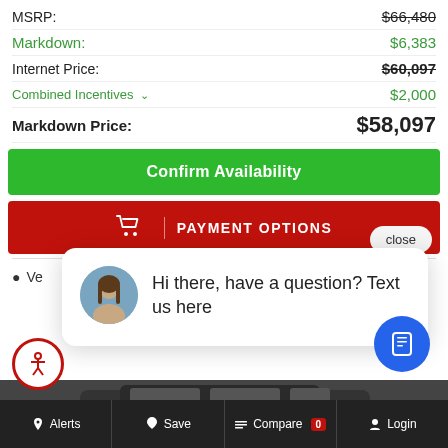MSRP: $66,480
Markdown: $6,383
Internet Price: $60,097
Combined Incentives $2,000
Markdown Price: $58,097
Confirm Availability
PAYMENT OPTIONS
close
Ve
Hi there, have a question? Text us here
Alerts  Save  Compare 0  Login